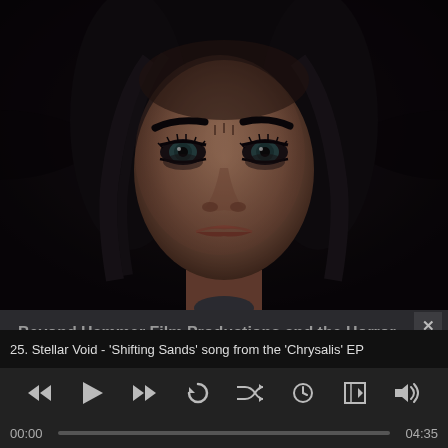[Figure (screenshot): Dark atmospheric portrait photo of a woman with intense gaze, heavy eye makeup, dark hair, staring directly at camera against a dark background]
Beyond Hammer Film Productions and the Horror Film in the Early 1960s
25. Stellar Void - 'Shifting Sands' song from the 'Chrysalis' EP
00:00
04:35